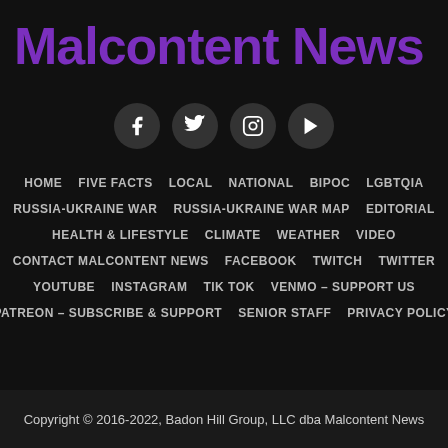Malcontent News
[Figure (other): Social media icons: Facebook, Twitter, Instagram, YouTube]
HOME   FIVE FACTS   LOCAL   NATIONAL   BIPOC   LGBTQIA
RUSSIA-UKRAINE WAR   RUSSIA-UKRAINE WAR MAP   EDITORIAL
HEALTH & LIFESTYLE   CLIMATE   WEATHER   VIDEO
CONTACT MALCONTENT NEWS   FACEBOOK   TWITCH   TWITTER
YOUTUBE   INSTAGRAM   TIK TOK   VENMO – SUPPORT US
PATREON – SUBSCRIBE & SUPPORT   SENIOR STAFF   PRIVACY POLICY
Copyright © 2016-2022, Badon Hill Group, LLC dba Malcontent News